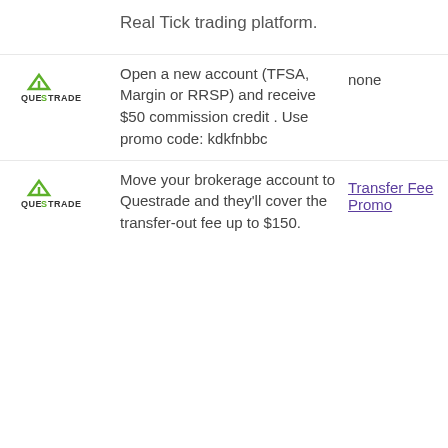Real Tick trading platform.
[Figure (logo): Questrade logo with green triangle and stylized text]
Open a new account (TFSA, Margin or RRSP) and receive $50 commission credit . Use promo code: kdkfnbbc
none
[Figure (logo): Questrade logo with green triangle and stylized text]
Move your brokerage account to Questrade and they'll cover the transfer-out fee up to $150.
Transfer Fee Promo